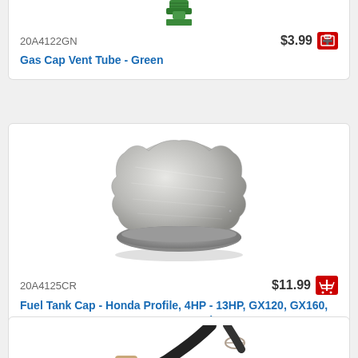[Figure (photo): Green gas cap vent tube, small green plastic cap with threads, partially cropped at top]
20A4122GN
$3.99
Gas Cap Vent Tube - Green
[Figure (photo): Metal fuel tank cap with scalloped/fluted edge, Honda profile, silver/chrome color, viewed from top-front angle]
20A4125CR
$11.99
Fuel Tank Cap - Honda Profile, 4HP - 13HP, GX120, GX160, GX200, GX240, GX270, GX390, Metal
[Figure (photo): Partial view of a fuel line or hose assembly — black rubber hose curving down from top, with tan/beige plastic fitting at bottom, and a small metal clip/clamp visible, all partially cropped at bottom of page]